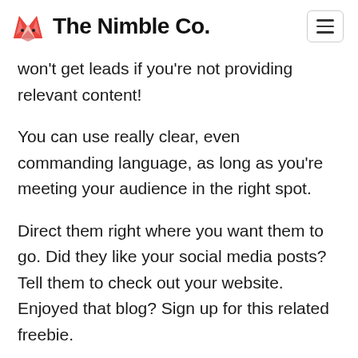The Nimble Co.
won't get leads if you're not providing relevant content!
You can use really clear, even commanding language, as long as you're meeting your audience in the right spot.
Direct them right where you want them to go. Did they like your social media posts? Tell them to check out your website. Enjoyed that blog? Sign up for this related freebie.